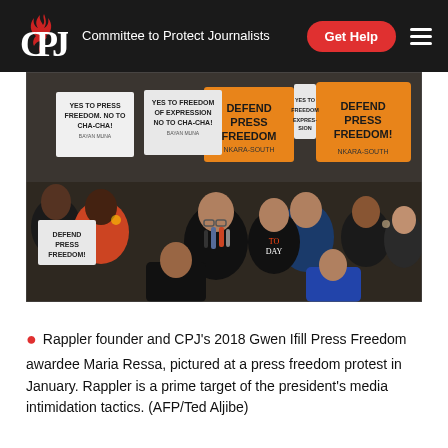CPJ – Committee to Protect Journalists | Get Help
[Figure (photo): Crowd of protesters holding signs reading 'Defend Press Freedom', 'Yes to Press Freedom No to Cha-Cha', 'Yes to Freedom of Expression No to Cha-Cha'. Maria Ressa speaks into microphones at center, surrounded by supporters and media.]
Rappler founder and CPJ's 2018 Gwen Ifill Press Freedom awardee Maria Ressa, pictured at a press freedom protest in January. Rappler is a prime target of the president's media intimidation tactics. (AFP/Ted Aljibe)